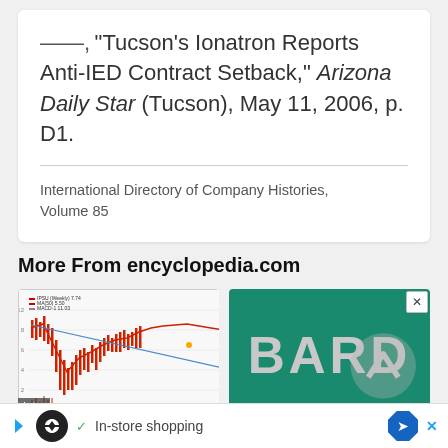——, "Tucson's Ionatron Reports Anti-IED Contract Setback," Arizona Daily Star (Tucson), May 11, 2006, p. D1.
International Directory of Company Histories, Volume 85
More From encyclopedia.com
[Figure (continuous-plot): Stock price chart showing weekly price movement with moving averages (red and blue lines) and volume bars, candlestick-style chart with deep trough.]
[Figure (logo): BARD company logo in white text on teal/green background, with a circular arrow chevron icon overlaid.]